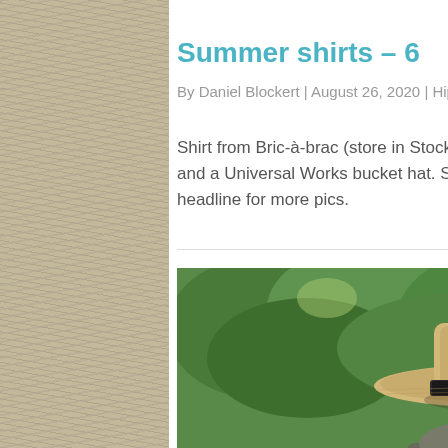Summer shirts – 6
By Daniel Blockert | August 26, 2020 | Hipster in denial, Summer shirts | 0 comments
Shirt from Bric-à-brac (store in Stockholm), Uniqlo pants, sneakers from Onitsuka Tiger and a Universal Works bucket hat. Scent: A Lab On Fire Liquid Night. Click on the headline for more pics.
[Figure (photo): Person wearing a wide-brim straw panama hat with black band, looking down, green foliage background]